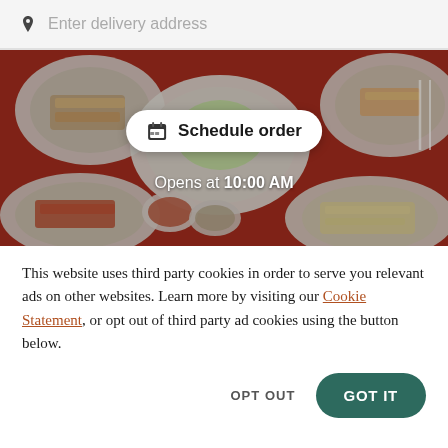Enter delivery address
[Figure (photo): Overhead photo of Mexican food dishes on a red tablecloth, showing plates with rice, salad, enchiladas, tacos, and small bowls of salsa and toppings. A white pill-shaped button overlay reads 'Schedule order' with a calendar icon, and below it text reads 'Opens at 10:00 AM'.]
This website uses third party cookies in order to serve you relevant ads on other websites. Learn more by visiting our Cookie Statement, or opt out of third party ad cookies using the button below.
OPT OUT
GOT IT